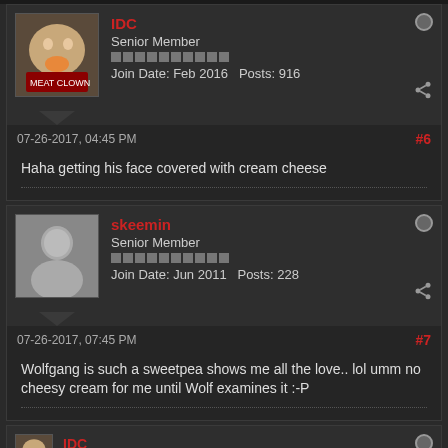IDC - Senior Member - Join Date: Feb 2016 Posts: 916
07-26-2017, 04:45 PM #6
Haha getting his face covered with cream cheese
skeemin - Senior Member - Join Date: Jun 2011 Posts: 228
07-26-2017, 07:45 PM #7
Wolfgang is such a sweetpea shows me all the love.. lol umm no cheesy cream for me until Wolf examines it :-P